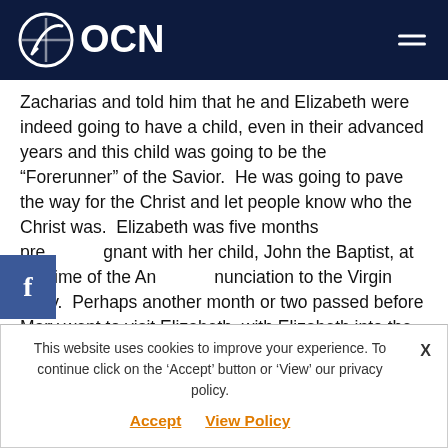OCN
Zacharias and told him that he and Elizabeth were indeed going to have a child, even in their advanced years and this child was going to be the “Forerunner” of the Savior.  He was going to pave the way for the Christ and let people know who the Christ was.  Elizabeth was five months pregnant with her child, John the Baptist, at the time of the Annunciation to the Virgin Mary.  Perhaps another month or two passed before Mary went to visit Elizabeth, with Elizabeth into the third trimester of her pregnancy and Mary newly pregnant, with the Christ-child, conceived in her by the Holy Spirit.
This website uses cookies to improve your experience. To continue click on the ‘Accept’ button or ‘View’ our privacy policy. Accept  View Policy